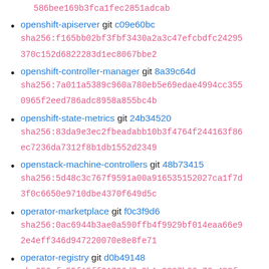586bee169b3fca1fec2851adcab
openshift-apiserver git c09e60bc
sha256:f165bb02bf3fbf3430a2a3c47efcbdfc24295370c152d6822283d1ec8067bbe2
openshift-controller-manager git 8a39c64d
sha256:7a011a5389c960a780eb5e69edae4994cc3550965f2eed786adc8958a855bc4b
openshift-state-metrics git 24b34520
sha256:83da9e3ec2fbeadabb10b3f4764f244163f86ec7236da7312f8b1db1552d2349
openstack-machine-controllers git 48b73415
sha256:5d48c3c767f9591a00a916535152027ca1f7d3f0c6650e9710dbe4370f649d5c
operator-marketplace git f0c3f9d6
sha256:0ac6944b3ae0a590ffb4f9929bf014eaa66e92e4eff346d947220070e8e8fe71
operator-registry git d0b49148
sha256:fa55f15ff21796d7e9b1c0867b06a73e488fa...